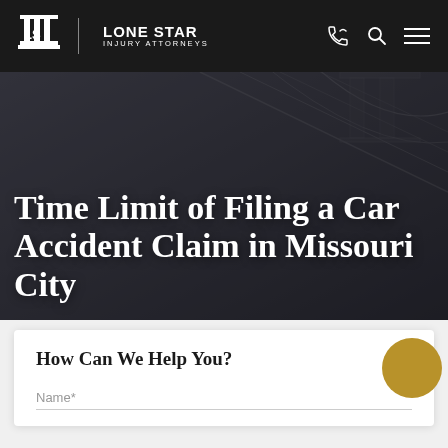Lone Star Injury Attorneys — navigation bar with logo and icons
Time Limit of Filing a Car Accident Claim in Missouri City
How Can We Help You?
Name*